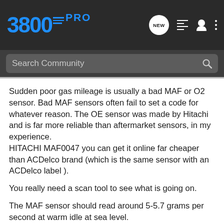3800PRO
Search Community
Sudden poor gas mileage is usually a bad MAF or O2 sensor. Bad MAF sensors often fail to set a code for whatever reason. The OE sensor was made by Hitachi and is far more reliable than aftermarket sensors, in my experience.
HITACHI MAF0047 you can get it online far cheaper than ACDelco brand (which is the same sensor with an ACDelco label ).
You really need a scan tool to see what is going on.
The MAF sensor should read around 5-5.7 grams per second at warm idle at sea level.
(Different altitudes cause readings between 3 and 6 grams per second)
Hot readings should be between 1800-3000 rpm, at idle...